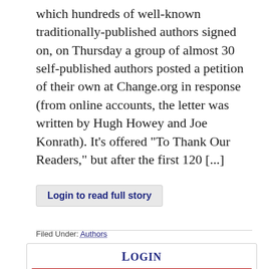which hundreds of well-known traditionally-published authors signed on, on Thursday a group of almost 30 self-published authors posted a petition of their own at Change.org in response (from online accounts, the letter was written by Hugh Howey and Joe Konrath). It’s offered “To Thank Our Readers,” but after the first 120 […]
Login to read full story
Filed Under: Authors
Login
User name: